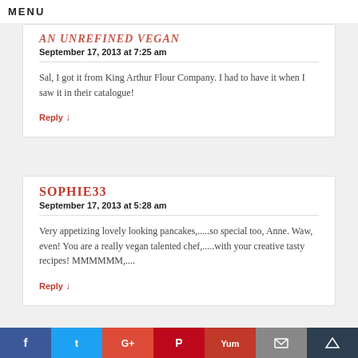MENU
AN UNREFINED VEGAN
September 17, 2013 at 7:25 am
Sal, I got it from King Arthur Flour Company. I had to have it when I saw it in their catalogue!
Reply ↓
SOPHIE33
September 17, 2013 at 5:28 am
Very appetizing lovely looking pancakes,.....so special too, Anne. Waw, even! You are a really vegan talented chef,.....with your creative tasty recipes! MMMMMM,....
Reply ↓